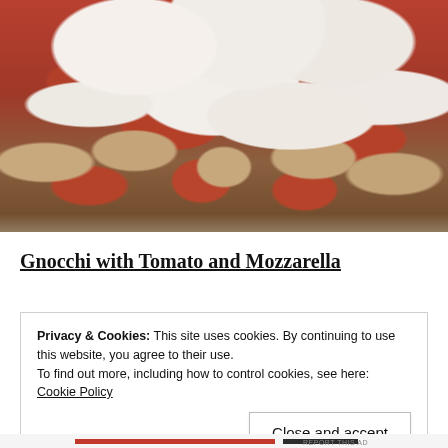[Figure (photo): A baking dish containing gnocchi with tomato sauce and melted mozzarella cheese, viewed from slightly above. The dish shows golden gnocchi pieces surrounded by red tomato sauce and topped with melted white mozzarella.]
Gnocchi with Tomato and Mozzarella
Privacy & Cookies: This site uses cookies. By continuing to use this website, you agree to their use.
To find out more, including how to control cookies, see here: Cookie Policy